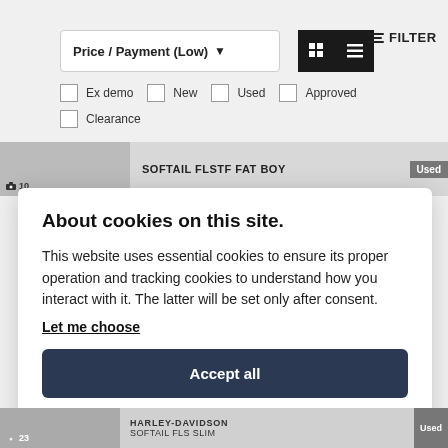[Figure (screenshot): Website UI showing sort/filter bar with Price/Payment (Low) dropdown, grid/list view toggle buttons, and FILTER button]
Ex demo
New
Used
Approved
Clearance
SOFTAIL FLSTF FAT BOY
About cookies on this site.
This website uses essential cookies to ensure its proper operation and tracking cookies to understand how you interact with it. The latter will be set only after consent.
Let me choose
Accept all
Reject all
HARLEY-DAVIDSON SOFTAIL FLS SLIM